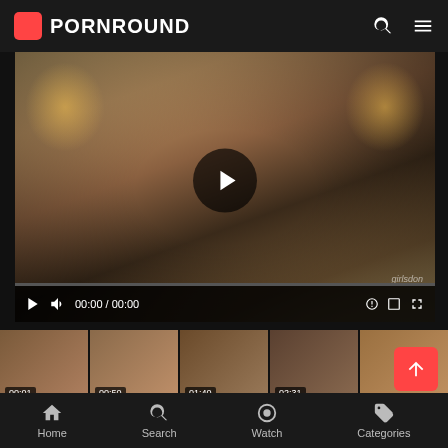PORNROUND
[Figure (screenshot): Video player showing a woman in a hotel room wearing a white jacket and red skirt, sitting on a bed with lamps on either side. Play button overlay in center. Controls bar at bottom showing 00:00 / 00:00 time display. Watermark reads girlsdo...]
[Figure (screenshot): Row of video thumbnails with timestamps: 00:01, 00:50, 01:40, 02:31, and a fifth partially visible]
[Figure (screenshot): Second row of video thumbnails partially visible]
Home  Search  Watch  Categories